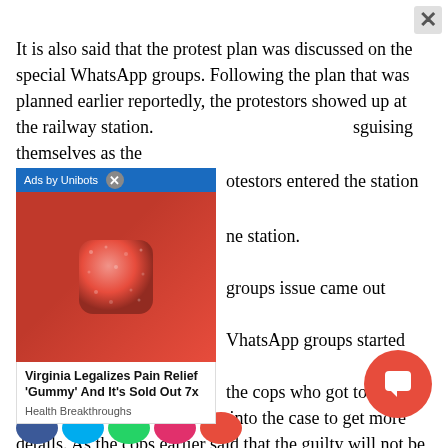It is also said that the protest plan was discussed on the special WhatsApp groups. Following the plan that was planned earlier reportedly, the protestors showed up at the railway station. Disguising themselves as the [obscured] protestors entered the station and [obscured] the station.
[Figure (photo): Advertisement overlay showing a red gummy candy held between fingers. Ad labeled 'Ads by Unibots'. Caption reads: Virginia Legalizes Pain Relief 'Gummy' And It's Sold Out 7x. Source: Health Breakthroughs]
groups issue came out reportedly, the WhatsApp groups started leaving the the cops who got to know about this are digging deeper into the case to get more details. As the cops earlier said that the guilty will not be spared, the accused are expected to be arrested by the investigating officers.